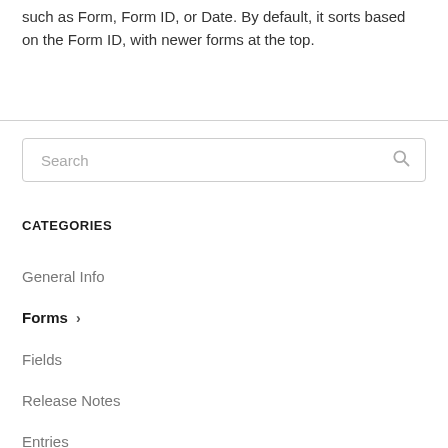such as Form, Form ID, or Date. By default, it sorts based on the Form ID, with newer forms at the top.
[Figure (screenshot): Search input box with placeholder text 'Search' and a magnifying glass icon on the right]
CATEGORIES
General Info
Forms >
Fields
Release Notes
Entries
Import and Export